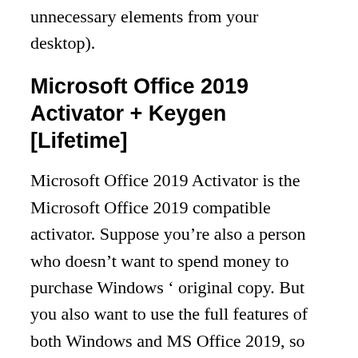unnecessary elements from your desktop).
Microsoft Office 2019 Activator + Keygen [Lifetime]
Microsoft Office 2019 Activator is the Microsoft Office 2019 compatible activator. Suppose you’re also a person who doesn’t want to spend money to purchase Windows ‘ original copy. But you also want to use the full features of both Windows and MS Office 2019, so you have to be very happy to hear that Office 2019 Activator helps you activate them without wasting your money. This activator is the users ‘ best choice as it gives you genuine activation. In addition, it is free of